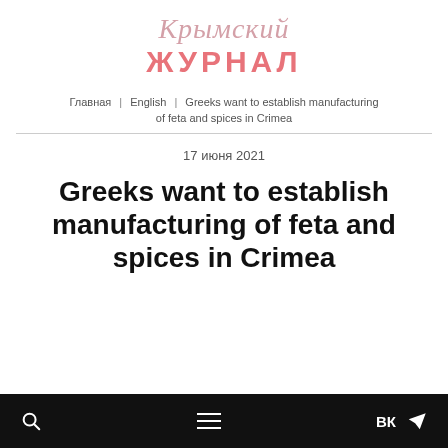Крымский ЖУРНАЛ
Главная | English | Greeks want to establish manufacturing of feta and spices in Crimea
17 июня 2021
Greeks want to establish manufacturing of feta and spices in Crimea